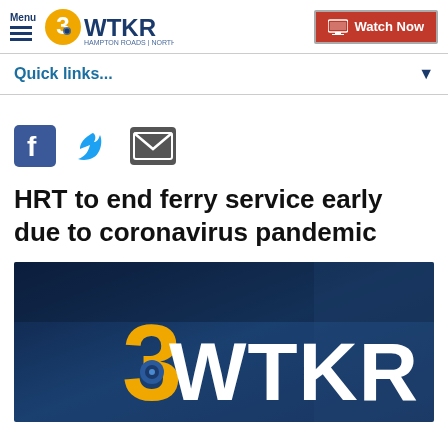Menu | 3WTKR Hampton Roads | Northeast NC | Watch Now
Quick links...
[Figure (infographic): Social sharing icons: Facebook, Twitter, Email]
HRT to end ferry service early due to coronavirus pandemic
[Figure (screenshot): 3WTKR news station logo on dark blue background]